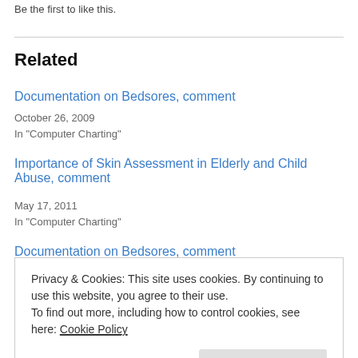Be the first to like this.
Related
Documentation on Bedsores, comment
October 26, 2009
In "Computer Charting"
Importance of Skin Assessment in Elderly and Child Abuse, comment
May 17, 2011
In "Computer Charting"
Documentation on Bedsores, comment
Privacy & Cookies: This site uses cookies. By continuing to use this website, you agree to their use.
To find out more, including how to control cookies, see here: Cookie Policy